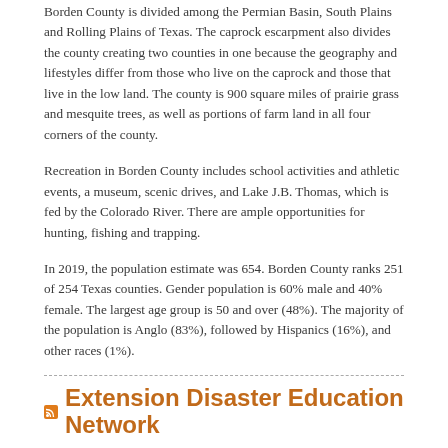Borden County is divided among the Permian Basin, South Plains and Rolling Plains of Texas. The caprock escarpment also divides the county creating two counties in one because the geography and lifestyles differ from those who live on the caprock and those that live in the low land. The county is 900 square miles of prairie grass and mesquite trees, as well as portions of farm land in all four corners of the county.
Recreation in Borden County includes school activities and athletic events, a museum, scenic drives, and Lake J.B. Thomas, which is fed by the Colorado River. There are ample opportunities for hunting, fishing and trapping.
In 2019, the population estimate was 654. Borden County ranks 251 of 254 Texas counties. Gender population is 60% male and 40% female. The largest age group is 50 and over (48%). The majority of the population is Anglo (83%), followed by Hispanics (16%), and other races (1%).
Extension Disaster Education Network